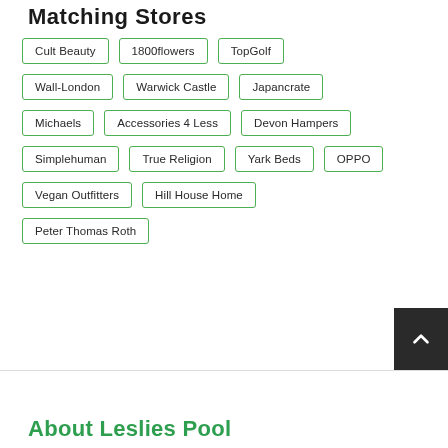Matching Stores
Cult Beauty
1800flowers
TopGolf
Wall-London
Warwick Castle
Japancrate
Michaels
Accessories 4 Less
Devon Hampers
Simplehuman
True Religion
Yark Beds
OPPO
Vegan Outfitters
Hill House Home
Peter Thomas Roth
About Leslies Pool